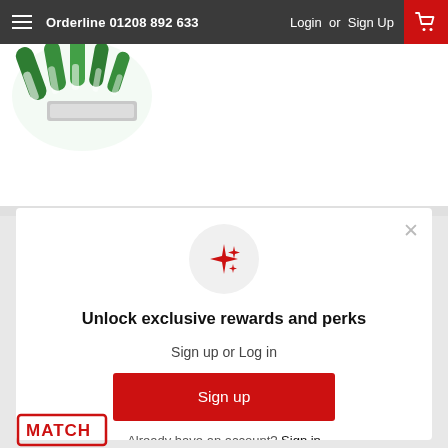Orderline 01208 892 633  Login or Sign Up
[Figure (photo): Partial view of a green and white cleaning brush product against a white background]
×
[Figure (illustration): Red sparkle/stars icon on a light grey circular background]
Unlock exclusive rewards and perks
Sign up or Log in
Sign up
Already have an account? Sign in
[Figure (logo): MATCH stamp logo partially visible at the bottom left]